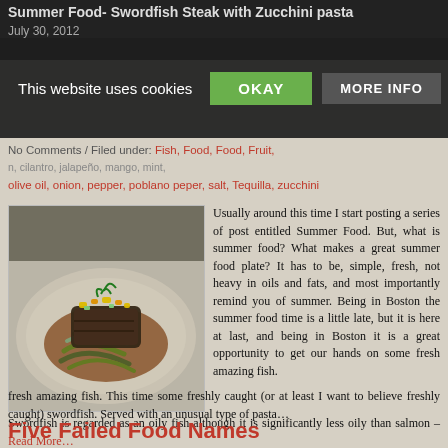Summer Food- Swordfish Steak with Zucchini pasta
July 30, 2012
No Comments / Filed under: Fish, Food, Food, Fruit, cilantro, jalapeño, mango, mint, olive oil, onion, pepper, poblano peper, salt, Tequilla, zucchini
[Figure (photo): A plated swordfish steak served with zucchini pasta and mango salsa on a white plate with brown sauce]
Usually around this time I start posting a series of post entitled Summer Food. But, what is summer food? What makes a great summer food plate? It has to be, simple, fresh, not heavy in oils and fats, and most importantly remind you of summer. Being in Boston the summer food time is a little late, but it is here at last, and being in Boston it is a great opportunity to get our hands on some fresh amazing fish. This time some freshly caught (or at least I want to believe freshly caught) swordfish. Served with an unusual type of pasta…
Swordfish is regarded as an oily fish although it is significantly less oily than salmon – Read More…
Five Failed Food Names